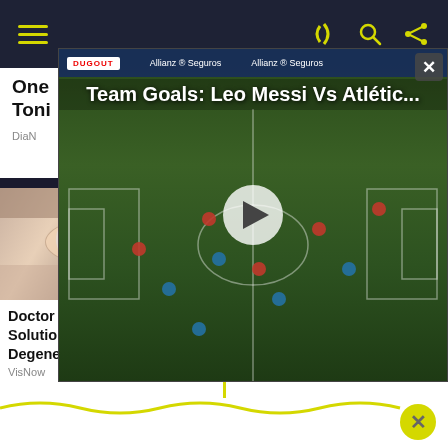Navigation bar with hamburger menu and icons
[Figure (screenshot): Video player overlay showing soccer match - Team Goals: Leo Messi Vs Atlétic... with play button and Allianz Seguros banners and Dugout logo]
One ... Try Toni
DiaN...
[Figure (photo): Close-up photo of a person's eyes and face, appearing to have a medical eye condition]
Doctor Discovers Natural Solution To Macular Degeneration (Watch)
VisNow
[Figure (screenshot): Fox News channel screenshot with Mark Levin appearing on screen]
Mark Levin Is In Big Trouble After Revealing This